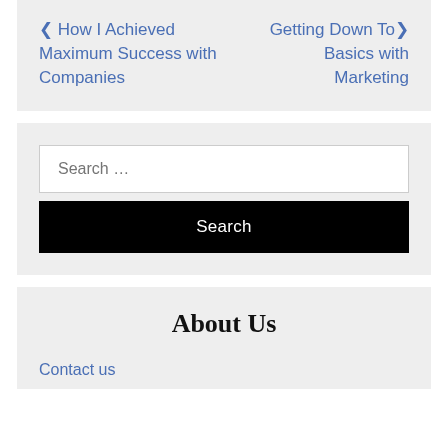< How I Achieved Maximum Success with Companies   Getting Down To Basics with Marketing >
Search ...
Search
About Us
Contact us